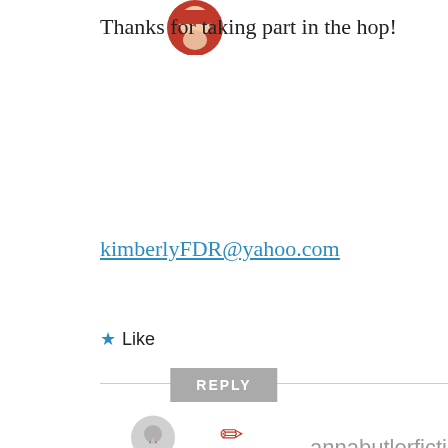[Figure (illustration): Circular avatar with cartoon character in red hat, top of image]
Thanks for taking part in the hop!
kimberlyFDR@yahoo.com
★ Like
REPLY
[Figure (illustration): Partial circular avatar (gray/blue) with small red and white illustration visible at bottom, for user annabutlerfiction]
annabutlerfiction
Privacy & Cookies: This site uses cookies. By continuing to use this website, you agree to their use.
To find out more, including how to control cookies, see here: Cookie Policy
Close and accept